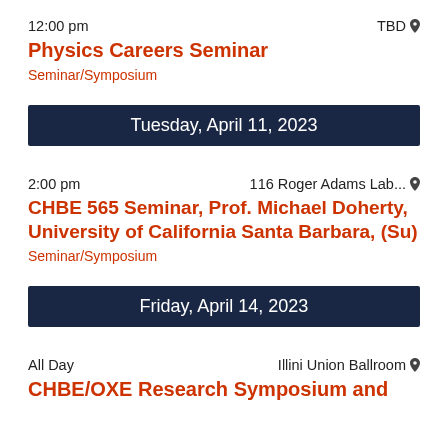12:00 pm   TBD
Physics Careers Seminar
Seminar/Symposium
Tuesday, April 11, 2023
2:00 pm   116 Roger Adams Lab...
CHBE 565 Seminar, Prof. Michael Doherty, University of California Santa Barbara, (Su)
Seminar/Symposium
Friday, April 14, 2023
All Day   Illini Union Ballroom
CHBE/OXE Research Symposium and